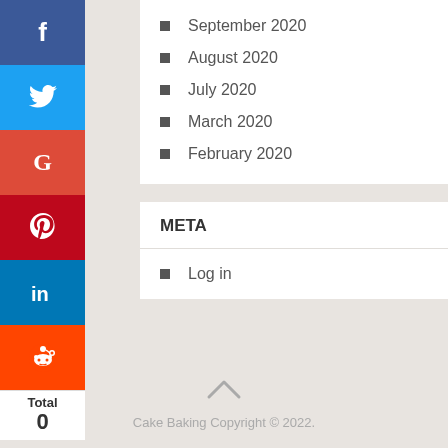September 2020
August 2020
July 2020
March 2020
February 2020
META
Log in
Cake Baking Copyright © 2022.